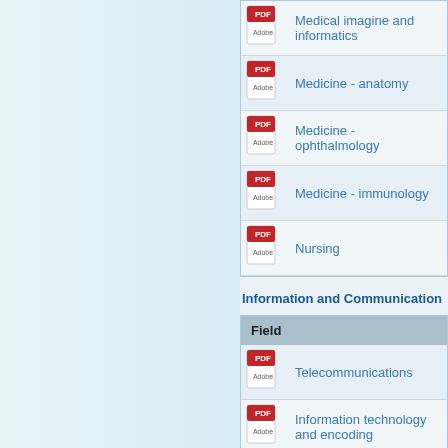Medical imagine and informatics
Medicine - anatomy
Medicine - ophthalmology
Medicine - immunology
Nursing
Information and Communication
| Field |
| --- |
| Telecommunications |
| Information technology and encoding |
Science